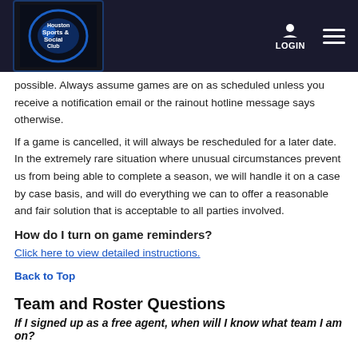Houston Sports & Social Club | LOGIN
possible. Always assume games are on as scheduled unless you receive a notification email or the rainout hotline message says otherwise.
If a game is cancelled, it will always be rescheduled for a later date. In the extremely rare situation where unusual circumstances prevent us from being able to complete a season, we will handle it on a case by case basis, and will do everything we can to offer a reasonable and fair solution that is acceptable to all parties involved.
How do I turn on game reminders?
Click here to view detailed instructions.
Back to Top
Team and Roster Questions
If I signed up as a free agent, when will I know what team I am on?